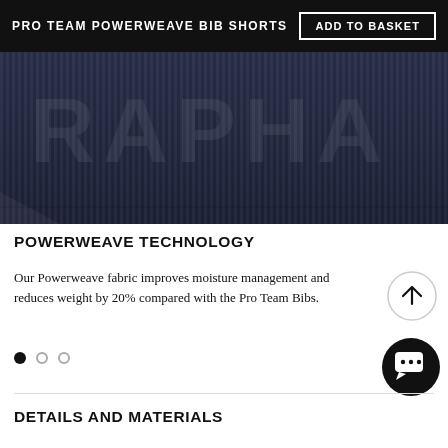PRO TEAM POWERWEAVE BIB SHORTS | ADD TO BASKET
[Figure (photo): Close-up photo of dark navy blue cycling bib shorts fabric with subtle textured weave pattern and faint brand lettering]
POWERWEAVE TECHNOLOGY
Our Powerweave fabric improves moisture management and reduces weight by 20% compared with the Pro Team Bibs.
DETAILS AND MATERIALS